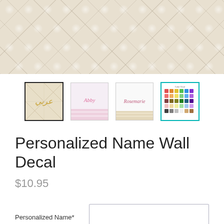[Figure (photo): Tufted cream/beige upholstered headboard or wall panel showing diamond quilted pattern]
[Figure (photo): Four product thumbnail images: (1) gold Arabic script name decal on tufted background (selected), (2) pink name decal on pink striped background, (3) cursive name 'Rosemarie' decal on striped background, (4) color swatch chart]
Personalized Name Wall Decal
$10.95
Personalized Name*